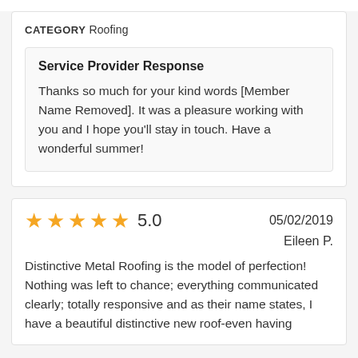CATEGORY Roofing
Service Provider Response
Thanks so much for your kind words [Member Name Removed]. It was a pleasure working with you and I hope you'll stay in touch. Have a wonderful summer!
★★★★★ 5.0   05/02/2019   Eileen P.
Distinctive Metal Roofing is the model of perfection! Nothing was left to chance; everything communicated clearly; totally responsive and as their name states, I have a beautiful distinctive new roof-even having